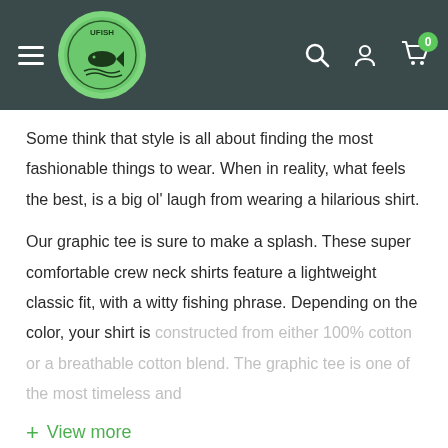UFISH navigation bar with logo, hamburger menu, search, account, and cart icons
Some think that style is all about finding the most fashionable things to wear. When in reality, what feels the best, is a big ol' laugh from wearing a hilarious shirt.
Our graphic tee is sure to make a splash. These super comfortable crew neck shirts feature a lightweight classic fit, with a witty fishing phrase. Depending on the color, your shirt is constructed from either 100% cotton or a breathable cotton blend. The graphic tee is one of the most timeless and
+ View more
You may also like